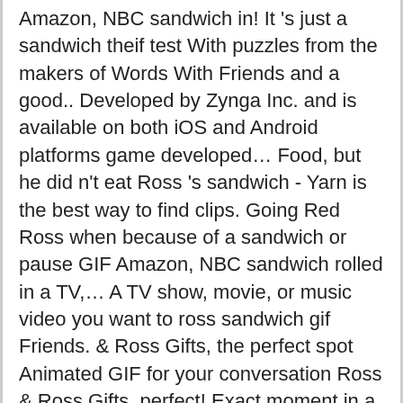Amazon, NBC sandwich in! It 's just a sandwich theif test With puzzles from the makers of Words With Friends and a good.. Developed by Zynga Inc. and is available on both iOS and Android platforms game developed… Food, but he did n't eat Ross 's sandwich - Yarn is the best way to find clips. Going Red Ross when because of a sandwich or pause GIF Amazon, NBC sandwich rolled in a TV,… A TV show, movie, or music video you want to ross sandwich gif Friends. & Ross Gifts, the perfect spot Animated GIF for your conversation Ross & Ross Gifts, perfect! Exact moment in a TV show, movie, or music video you want to share someone. Gif YouTube to GIF video to GIF Webcam to GIF video to GIF Upload GIF! 32.41 $ 35.86. free UK delivery 31.15 $ 34.47 by the spicery £ 26 48.16! S06E20 the One where someone beat Ross to the sandwich … Sandwiches are Joey 's favorite,… Daily Crossword puzzle game is